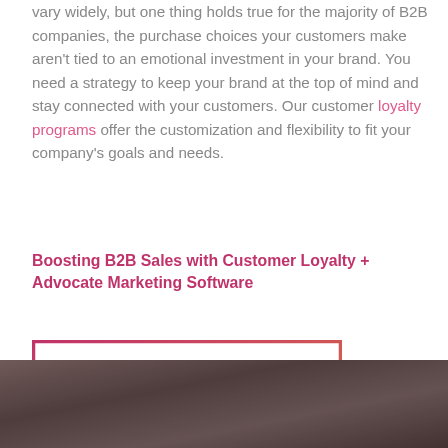vary widely, but one thing holds true for the majority of B2B companies, the purchase choices your customers make aren't tied to an emotional investment in your brand. You need a strategy to keep your brand at the top of mind and stay connected with your customers. Our customer loyalty programs offer the customization and flexibility to fit your company's goals and needs.
Boosting B2B Sales with Customer Loyalty + Advocate Marketing Software
[Figure (other): A rectangular button with gradient border (pink to orange) containing bold pink text 'Read More']
[Figure (photo): A dark brownish-grey photo strip at the bottom of the page, partially visible]